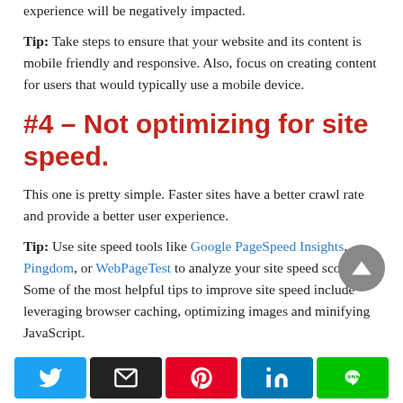experience will be negatively impacted.
Tip: Take steps to ensure that your website and its content is mobile friendly and responsive. Also, focus on creating content for users that would typically use a mobile device.
#4 – Not optimizing for site speed.
This one is pretty simple. Faster sites have a better crawl rate and provide a better user experience.
Tip: Use site speed tools like Google PageSpeed Insights, Pingdom, or WebPageTest to analyze your site speed score. Some of the most helpful tips to improve site speed include leveraging browser caching, optimizing images and minifying JavaScript.
[Figure (infographic): Social sharing bar with Twitter, Email, Pinterest, LinkedIn, and LINE buttons]